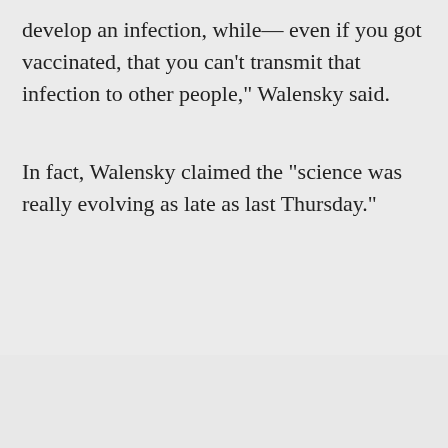develop an infection, while— even if you got vaccinated, that you can't transmit that infection to other people," Walensky said.
In fact, Walensky claimed the "science was really evolving as late as last Thursday."